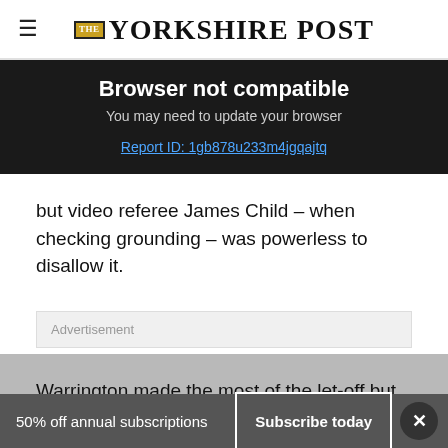THE YORKSHIRE POST
Browser not compatible
You may need to update your browser
Report ID: 1gb878u233m4jgqajtq
but video referee James Child – when checking grounding – was powerless to disallow it.
Advertisement
Warrington made the most of the let-off but, in fairness, they had already twice got over the line only for Charnley and Stefan
50% off annual subscriptions  Subscribe today